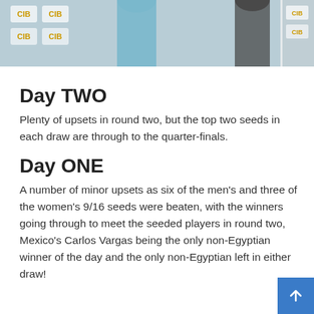[Figure (photo): Photo banner showing two people standing in front of CIB branded backdrop. Left person wearing light blue shirt, right person wearing dark striped shirt. A vertical divider separates two photo sections.]
Day TWO
Plenty of upsets in round two, but the top two seeds in each draw are through to the quarter-finals.
Day ONE
A number of minor upsets as six of the men's and three of the women's 9/16 seeds were beaten, with the winners going through to meet the seeded players in round two, Mexico's Carlos Vargas being the only non-Egyptian winner of the day and the only non-Egyptian left in either draw!